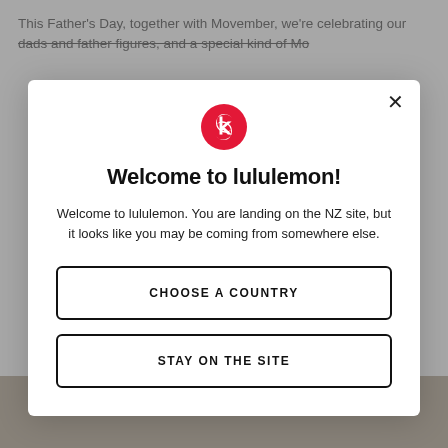This Father's Day, together with Movember, we're celebrating our dads and father figures, and a special kind of Mo...
[Figure (screenshot): lululemon website modal popup with logo, welcome message, and two buttons: 'CHOOSE A COUNTRY' and 'STAY ON THE SITE']
Welcome to lululemon!
Welcome to lululemon. You are landing on the NZ site, but it looks like you may be coming from somewhere else.
CHOOSE A COUNTRY
STAY ON THE SITE